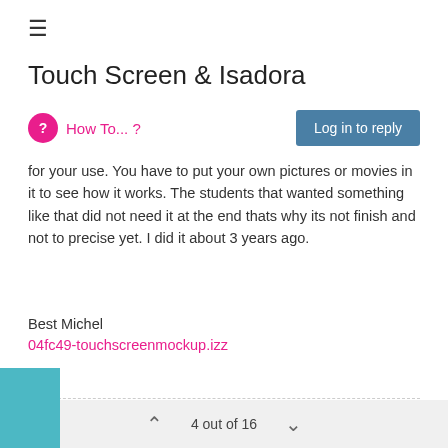≡
Touch Screen & Isadora
How To... ?
for your use. You have to put your own pictures or movies in it to see how it works. The students that wanted something like that did not need it at the end thats why its not finish and not to precise yet. I did it about 3 years ago.
Best Michel
04fc49-touchscreenmockup.izz
Michel Weber | www.filmprojekt.ch | rMBP (2019) i9, 16gig, AMD 5500M 8 GB, OS X 10.15 | located in Winterthur Switzerland.
4 out of 16